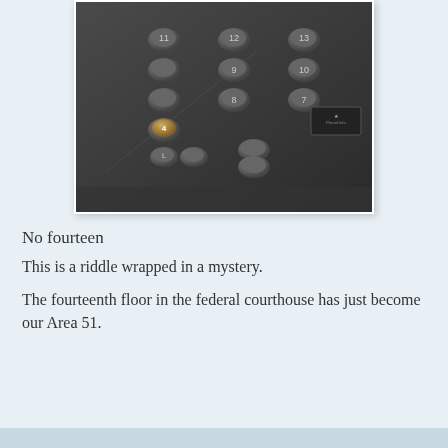[Figure (photo): Photograph of an elevator button panel showing floor numbers. Floor 14 is notably absent from the panel. Buttons visible include floors 11, 12, 13, 10, 9, 8, 7, 6 and others on a dark metallic panel.]
No fourteen
This is a riddle wrapped in a mystery.
The fourteenth floor in the federal courthouse has just become our Area 51.